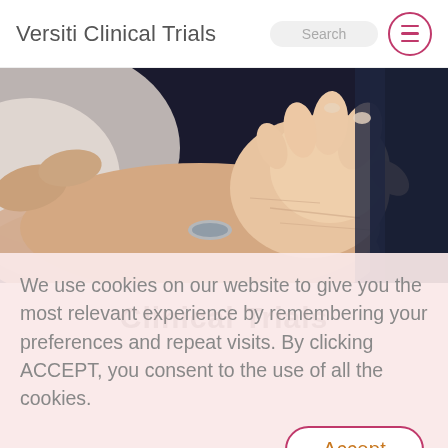Versiti Clinical Trials
[Figure (photo): Close-up photograph of two hands — one adult hand and one baby hand touching/holding, with a silver bracelet visible, against a dark background.]
We use cookies on our website to give you the most relevant experience by remembering your preferences and repeat visits. By clicking ACCEPT, you consent to the use of all the cookies.
Accept